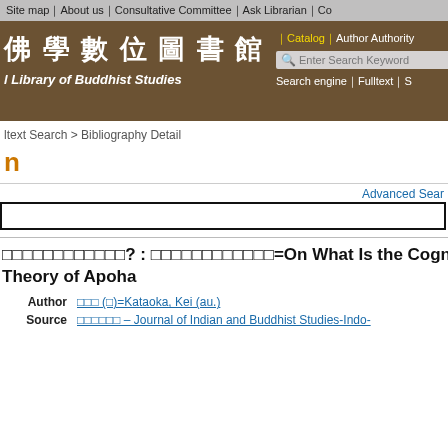Site map｜About us｜Consultative Committee｜Ask Librarian｜Co
[Figure (screenshot): Brown header banner of Digital Library of Buddhist Studies showing Chinese characters 佛學數位圖書館 and English subtitle 'l Library of Buddhist Studies', with navigation links including Catalog, Author Authority, search box, and Search engine/Fulltext/S links]
ltext Search > Bibliography Detail
n
Advanced Sear
□□□□□□□□□□□□? : □□□□□□□□□□□□=On What Is the Cognit Theory of Apoha
| Field | Value |
| --- | --- |
| Author | □□□ (□)=Kataoka, Kei (au.) |
| Source | □□□□□□ – Journal of Indian and Buddhist Studies-Indo- |